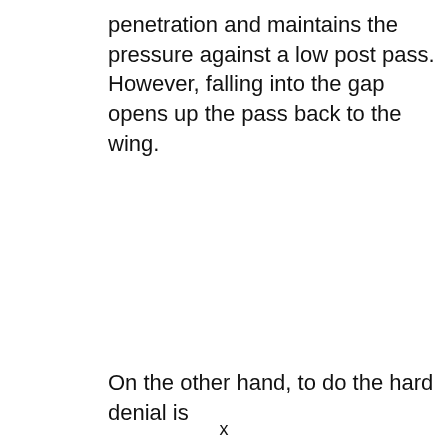penetration and maintains the pressure against a low post pass. However, falling into the gap opens up the pass back to the wing.
On the other hand, to do the hard denial is
x